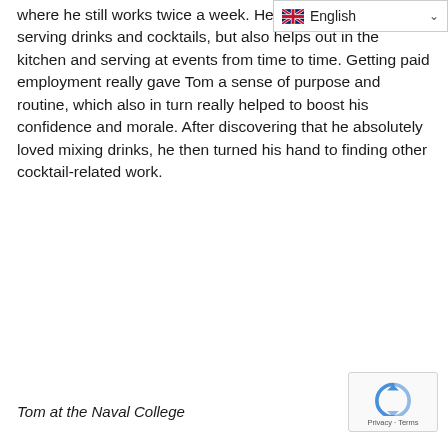where he still works twice a week. He manages the bar, serving drinks and cocktails, but also helps out in the kitchen and serving at events from time to time. Getting paid employment really gave Tom a sense of purpose and routine, which also in turn really helped to boost his confidence and morale. After discovering that he absolutely loved mixing drinks, he then turned his hand to finding other cocktail-related work.
Tom at the Naval College